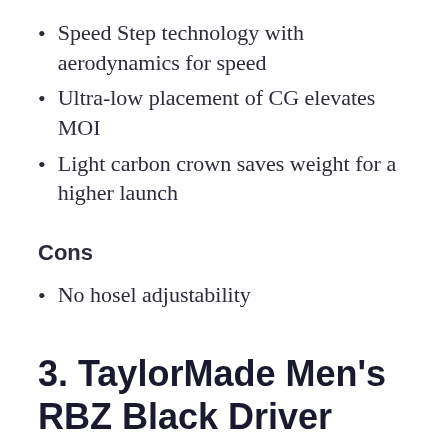Speed Step technology with aerodynamics for speed
Ultra-low placement of CG elevates MOI
Light carbon crown saves weight for a higher launch
Cons
No hosel adjustability
3. TaylorMade Men's RBZ Black Driver